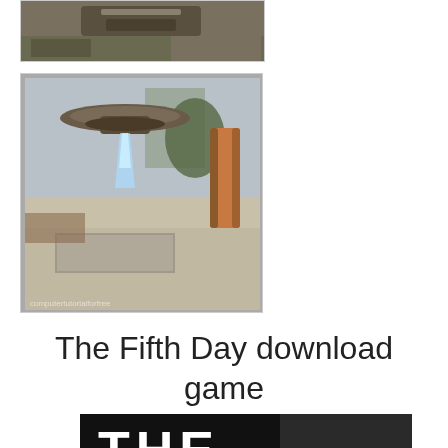[Figure (screenshot): Top cropped screenshot of a video game scene with aerial/industrial view]
[Figure (screenshot): Video game screenshot showing a UFO/alien device hovering above a stone courtyard with a beam of light and a copper cylinder on the right side]
The Fifth Day download game
[Figure (screenshot): Dark title card with large white bold text 'THE' visible at the bottom of the page]